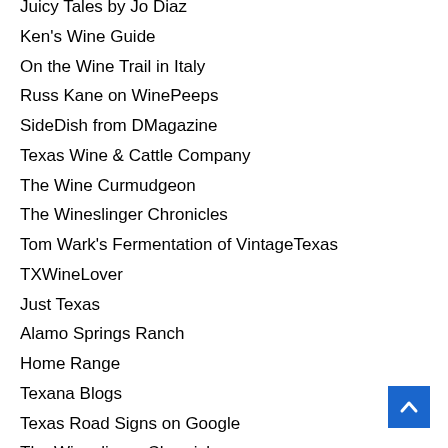Juicy Tales by Jo Diaz
Ken's Wine Guide
On the Wine Trail in Italy
Russ Kane on WinePeeps
SideDish from DMagazine
Texas Wine & Cattle Company
The Wine Curmudgeon
The Wineslinger Chronicles
Tom Wark's Fermentation of VintageTexas
TXWineLover
Just Texas
Alamo Springs Ranch
Home Range
Texana Blogs
Texas Road Signs on Google
The Wineslinger Chronicles
Life Style
The Vineyard at Florence
Other Vintage Texas
Texas Vintage Racing Club